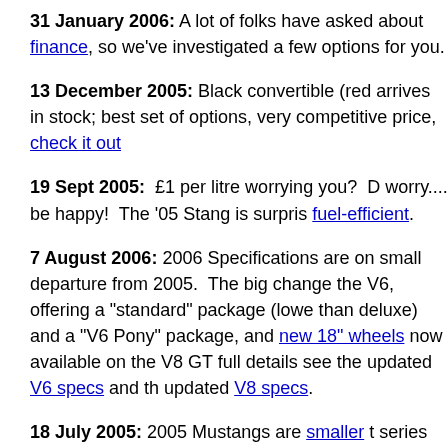31 January 2006: A lot of folks have asked about finance, so we've investigated a few options for you.
13 December 2005: Black convertible (red...) arrives in stock; best set of options, very competitive price, check it out
19 Sept 2005: £1 per litre worrying you? D... worry.... be happy! The '05 Stang is surpris... fuel-efficient.
7 August 2006: 2006 Specifications are on... small departure from 2005. The big change... the V6, offering a "standard" package (lowe... than deluxe) and a "V6 Pony" package, and... new 18" wheels now available on the V8 GT... full details see the updated V6 specs and th... updated V8 specs.
18 July 2005: 2005 Mustangs are smaller t... series BMW saloons!
11 July 2005: Some placeholder text with...